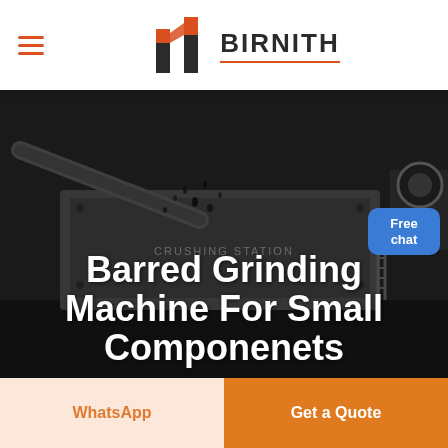BIRNITH
[Figure (photo): Industrial crushing station machinery with conveyor belt moving dark material/coal, dark moody background]
Barred Grinding Machine For Small Componenets
Free chat
WhatsApp
Get a Quote